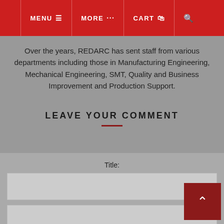MENU  MORE  CART
Over the years, REDARC has sent staff from various departments including those in Manufacturing Engineering, Mechanical Engineering, SMT, Quality and Business Improvement and Production Support.
LEAVE YOUR COMMENT
Title:
[Figure (screenshot): Text input field for Title]
[Figure (screenshot): Text area input field]